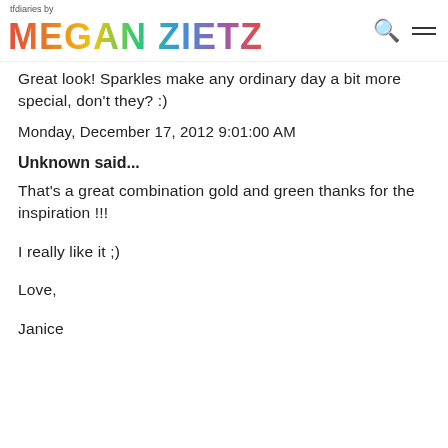tfdiaries by MEGAN ZIETZ
Great look! Sparkles make any ordinary day a bit more special, don't they? :)
Monday, December 17, 2012 9:01:00 AM
Unknown said...
That's a great combination gold and green thanks for the inspiration !!!


I really like it ;)


Love,


Janice